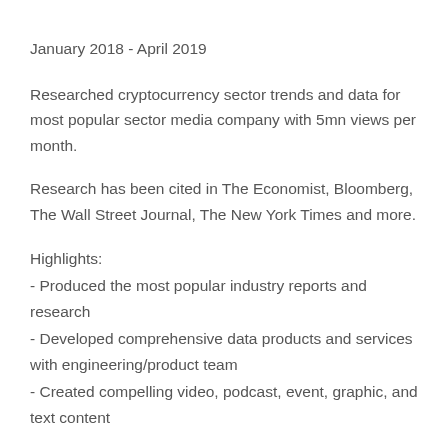January 2018 - April 2019
Researched cryptocurrency sector trends and data for most popular sector media company with 5mn views per month.
Research has been cited in The Economist, Bloomberg, The Wall Street Journal, The New York Times and more.
Highlights:
- Produced the most popular industry reports and research
- Developed comprehensive data products and services with engineering/product team
- Created compelling video, podcast, event, graphic, and text content